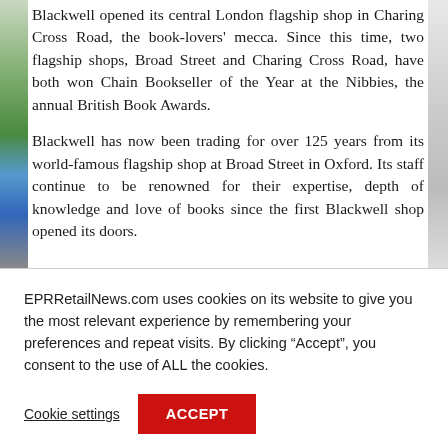Blackwell opened its central London flagship shop in Charing Cross Road, the book-lovers' mecca. Since this time, two flagship shops, Broad Street and Charing Cross Road, have both won Chain Bookseller of the Year at the Nibbies, the annual British Book Awards.
Blackwell has now been trading for over 125 years from its world-famous flagship shop at Broad Street in Oxford. Its staff continue to be renowned for their expertise, depth of knowledge and love of books since the first Blackwell shop opened its doors.
EPRRetailNews.com uses cookies on its website to give you the most relevant experience by remembering your preferences and repeat visits. By clicking “Accept”, you consent to the use of ALL the cookies.
Cookie settings
ACCEPT